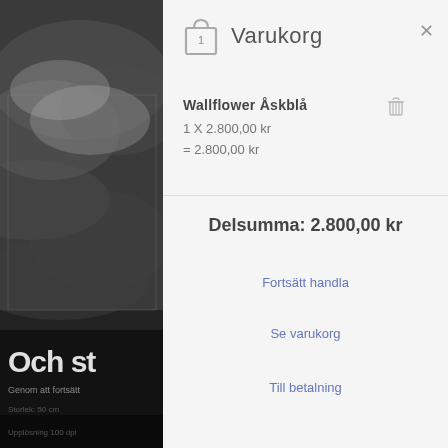[Figure (screenshot): Left panel showing a dark background with a satellite/aerial image of a landscape (clouds over terrain). Below the image is dark overlay with partial text 'Och st' in large white letters, and smaller subtext 'Genom att fortsätt' and more text below.]
Varukorg
Wallflower Åskblå
1 X 2.800,00 kr
= 2.800,00 kr
Delsumma: 2.800,00 kr
Fortsätt handla
Se varukorg
Till betalning